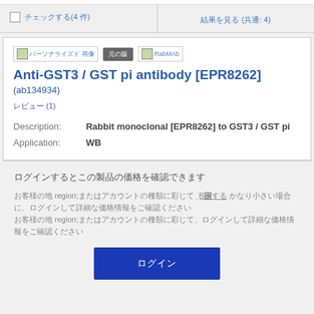|  |  |
| --- | --- |
| [checkbox] チェックする(4 件) | 結果を見る (共通: 4) |
[Figure (screenshot): Product listing card for Anti-GST3 / GST pi antibody [EPR8262] (ab134934) showing badges, title, review count, description and application fields]
Anti-GST3 / GST pi antibody [EPR8262]
(ab134934)
レビュー (1)
Description: Rabbit monoclonal [EPR8262] to GST3 / GST pi
Application: WB
ログインするとこの製品の価格を確認できます
お客様の地域またはアカウントの種類に応じて 登録する かなり小さい場合に、ログインして詳細な価格情報をご確認ください
ログイン